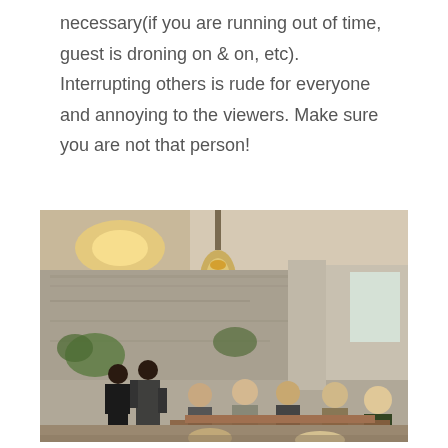necessary(if you are running out of time, guest is droning on & on, etc). Interrupting others is rude for everyone and annoying to the viewers. Make sure you are not that person!
[Figure (photo): A group of women gathered in a rustic industrial-style room with exposed concrete walls and a chandelier hanging from the ceiling. Two women stand at the left appearing to speak while others are seated around a table, listening and conversing.]